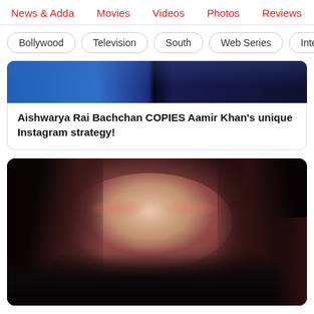News & Adda | Movies | Videos | Photos | Reviews | Box
Bollywood | Television | South | Web Series | Inte
[Figure (photo): Partial view of a photo showing two people in blue outfits (cropped, top portion visible)]
Aishwarya Rai Bachchan COPIES Aamir Khan's unique Instagram strategy!
[Figure (photo): Portrait photo of a young woman with long dark wavy hair, wearing a dark outfit, looking at the camera with a serious expression. Dark background.]